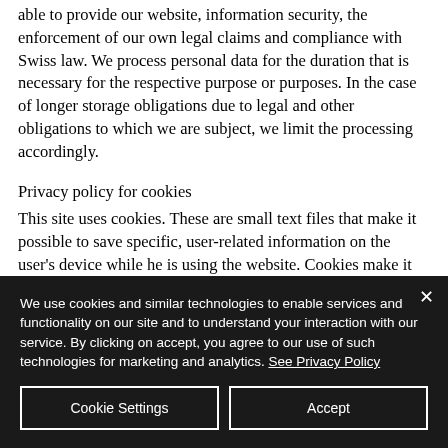able to provide our website, information security, the enforcement of our own legal claims and compliance with Swiss law. We process personal data for the duration that is necessary for the respective purpose or purposes. In the case of longer storage obligations due to legal and other obligations to which we are subject, we limit the processing accordingly.
Privacy policy for cookies
This site uses cookies. These are small text files that make it possible to save specific, user-related information on the user's device while he is using the website. Cookies make it possible, in particular, to determine the frequency of use and the number of users of the pages, to analyze the behavior of the page usage, but also to
We use cookies and similar technologies to enable services and functionality on our site and to understand your interaction with our service. By clicking on accept, you agree to our use of such technologies for marketing and analytics. See Privacy Policy
Cookie Settings
Accept